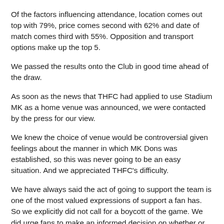Of the factors influencing attendance, location comes out top with 79%, price comes second with 62% and date of match comes third with 55%. Opposition and transport options make up the top 5.
We passed the results onto the Club in good time ahead of the draw.
As soon as the news that THFC had applied to use Stadium MK as a home venue was announced, we were contacted by the press for our view.
We knew the choice of venue would be controversial given feelings about the manner in which MK Dons was established, so this was never going to be an easy situation. And we appreciated THFC's difficulty.
We have always said the act of going to support the team is one of the most valued expressions of support a fan has. So we explicitly did not call for a boycott of the game. We did urge fans to make an informed decision on whether or not to attend, as attendance would inevitably be an issue. We believe that was the correct thing to do. The word “urge” seems to have been interpreted by some as us calling for a